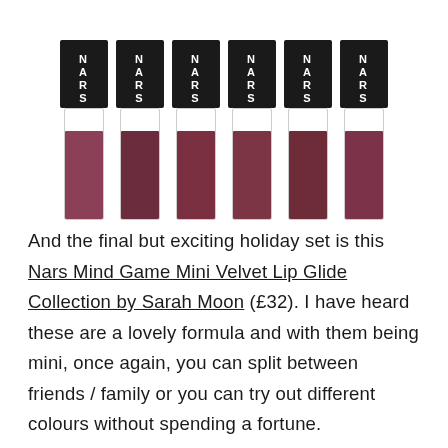[Figure (photo): Six NARS mini lip glide tubes with black caps showing NARS logo, containing dark reddish-brown/mauve lip gloss shades, arranged side by side]
And the final but exciting holiday set is this Nars Mind Game Mini Velvet Lip Glide Collection by Sarah Moon (£32). I have heard these are a lovely formula and with them being mini, once again, you can split between friends / family or you can try out different colours without spending a fortune.
Then after spending all that money you get the